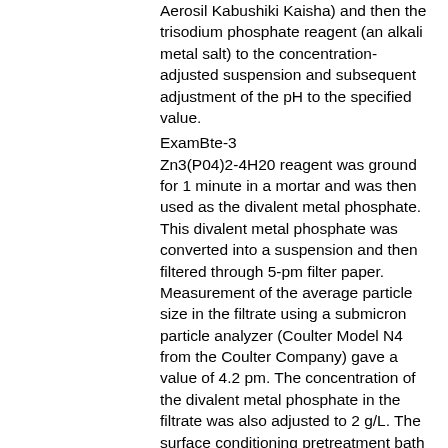Aerosil Kabushiki Kaisha) and then the trisodium phosphate reagent (an alkali metal salt) to the concentration-adjusted suspension and subsequent adjustment of the pH to the specified value.
ExamBte-3
Zn3(P04)2-4H20 reagent was ground for 1 minute in a mortar and was then used as the divalent metal phosphate. This divalent metal phosphate was converted into a suspension and then filtered through 5-pm filter paper. Measurement of the average particle size in the filtrate using a submicron particle analyzer (Coulter Model N4 from the Coulter Company) gave a value of 4.2 pm. The concentration of the divalent metal phosphate in the filtrate was also adjusted to 2 g/L. The surface conditioning pretreatment bath reported in Table 1 was prepared by addition of the Si02 (microparticulate oxide, Aerosil #300 from Nippon Aerosil Kabushiki Kaisha) and then the trisodium phosphate reagent (an alkali metal salt) to the concentration-adjusted suspension and subsequent adjustment of the pH to the specified value. Example 4
Zn3(P04)2-4H20 reagent was ground for 1 hour in a ball mill using zirconia beads and was then used as the